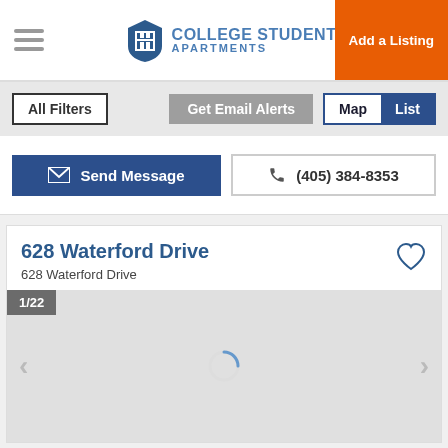College Student Apartments — Add a Listing
All Filters | Get Email Alerts | Map | List
Send Message | (405) 384-8353
628 Waterford Drive
628 Waterford Drive
1/22